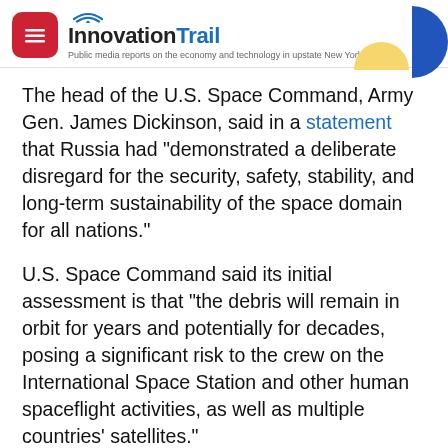InnovationTrail — Public media reports on the economy and technology in upstate New York
The head of the U.S. Space Command, Army Gen. James Dickinson, said in a statement that Russia had "demonstrated a deliberate disregard for the security, safety, stability, and long-term sustainability of the space domain for all nations."
U.S. Space Command said its initial assessment is that "the debris will remain in orbit for years and potentially for decades, posing a significant risk to the crew on the International Space Station and other human spaceflight activities, as well as multiple countries' satellites."
NASA Administrator Bill Nelson, in his own statement, added that the test threatened even